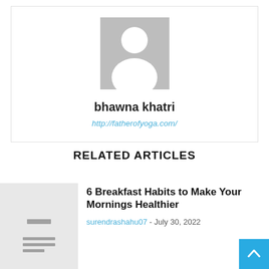[Figure (photo): Default user avatar placeholder — gray square with white silhouette of a person (head and shoulders)]
bhawna khatri
http://fatherofyoga.com/
RELATED ARTICLES
[Figure (illustration): Article thumbnail placeholder — light gray rectangle with a document/lines icon at the bottom]
6 Breakfast Habits to Make Your Mornings Healthier
surendrashahu07 - July 30, 2022